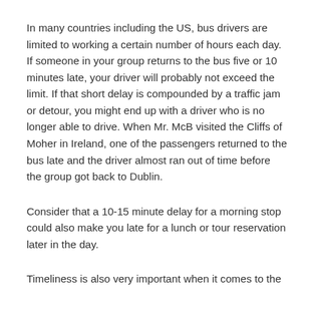In many countries including the US, bus drivers are limited to working a certain number of hours each day. If someone in your group returns to the bus five or 10 minutes late, your driver will probably not exceed the limit. If that short delay is compounded by a traffic jam or detour, you might end up with a driver who is no longer able to drive. When Mr. McB visited the Cliffs of Moher in Ireland, one of the passengers returned to the bus late and the driver almost ran out of time before the group got back to Dublin.
Consider that a 10-15 minute delay for a morning stop could also make you late for a lunch or tour reservation later in the day.
Timeliness is also very important when it comes to the